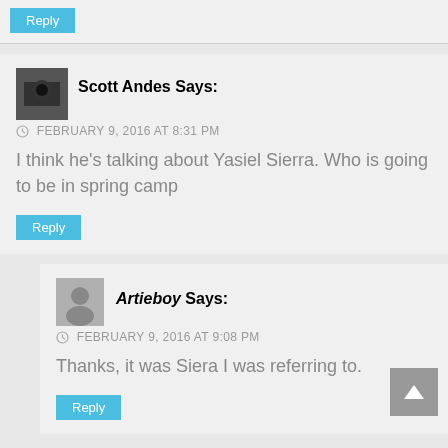Reply
Scott Andes Says:
FEBRUARY 9, 2016 AT 8:31 PM
I think he’s talking about Yasiel Sierra. Who is going to be in spring camp
Reply
Artieboy Says:
FEBRUARY 9, 2016 AT 9:08 PM
Thanks, it was Siera I was referring to.
Reply